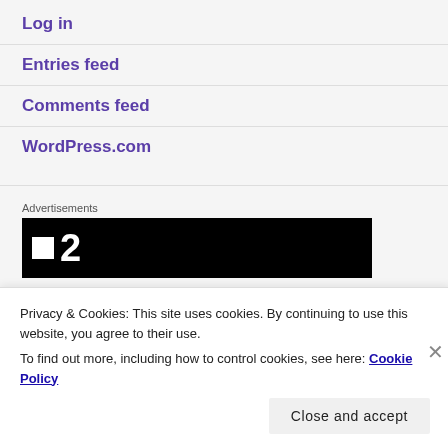Log in
Entries feed
Comments feed
WordPress.com
Advertisements
[Figure (other): Black advertisement banner with white square icon and number 2]
Privacy & Cookies: This site uses cookies. By continuing to use this website, you agree to their use.
To find out more, including how to control cookies, see here: Cookie Policy
Close and accept